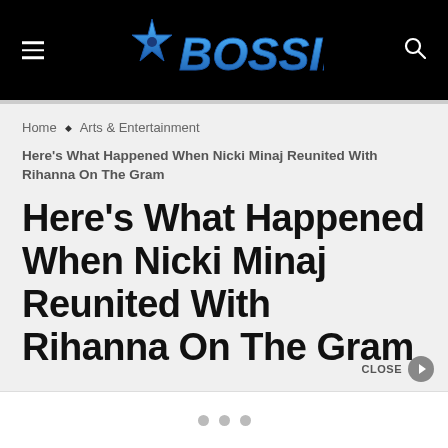BOSSIP
Home ◆ Arts & Entertainment
Here's What Happened When Nicki Minaj Reunited With Rihanna On The Gram
Here's What Happened When Nicki Minaj Reunited With Rihanna On The Gram